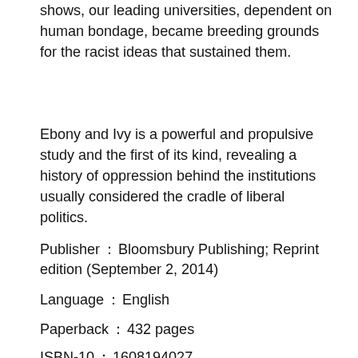shows, our leading universities, dependent on human bondage, became breeding grounds for the racist ideas that sustained them.
Ebony and Ivy is a powerful and propulsive study and the first of its kind, revealing a history of oppression behind the institutions usually considered the cradle of liberal politics.
Publisher ： Bloomsbury Publishing; Reprint edition (September 2, 2014)
Language ： English
Paperback ： 432 pages
ISBN-10 ： 1608194027